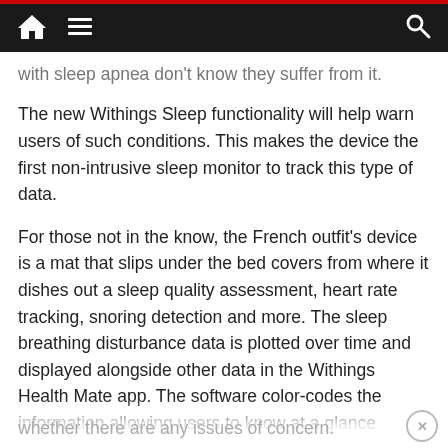Navigation bar with home, menu, and search icons
with sleep apnea don't know they suffer from it.
The new Withings Sleep functionality will help warn users of such conditions. This makes the device the first non-intrusive sleep monitor to track this type of data.
For those not in the know, the French outfit’s device is a mat that slips under the bed covers from where it dishes out a sleep quality assessment, heart rate tracking, snoring detection and more. The sleep breathing disturbance data is plotted over time and displayed alongside other data in the Withings Health Mate app. The software color-codes the information allowing users to know at a glance
whether there are any issues of concern.